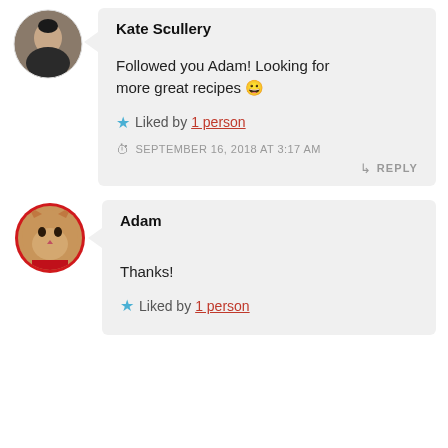[Figure (photo): Circular avatar of Kate Scullery, a woman with dark hair]
Kate Scullery
Followed you Adam! Looking for more great recipes 😀
★ Liked by 1 person
SEPTEMBER 16, 2018 AT 3:17 AM
↳ REPLY
[Figure (photo): Circular avatar of Adam, a cat with red circular border]
Adam
Thanks!
★ Liked by 1 person